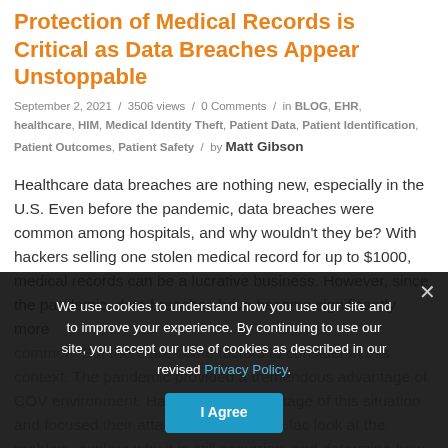Protection of Medical Records is Critical as Data Breaches Appear Unstoppable
September 2, 2021 / 3506 views / 0 Comments / in BLOG, EHR, healthcare, HIM, Medical Identity Theft, Patient Data, Patient Identification, Patient Outcomes, Patient Safety / by Matt Gibson
Healthcare data breaches are nothing new, especially in the U.S. Even before the pandemic, data breaches were common among hospitals, and why wouldn't they be? With hackers selling one stolen medical record for up to $1000, medical records can be a lucrative business. However, since the pandemic, data breaches have become significantly more common. But there are some factors to consider in this context. The pandemic provided a tremendous advantage of COVID hackers targeting remote environments. Hackers took advantage of this situation and focused their attacks on healthcare facilities. look at the problem, explore why it is still occurring, and determine how the
We use cookies to understand how you use our site and to improve your experience. By continuing to use our site, you accept our use of cookies as described in our revised Privacy Policy. I Agree